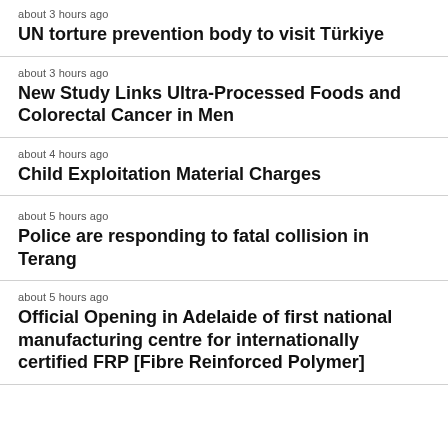about 3 hours ago
UN torture prevention body to visit Türkiye
about 3 hours ago
New Study Links Ultra-Processed Foods and Colorectal Cancer in Men
about 4 hours ago
Child Exploitation Material Charges
about 5 hours ago
Police are responding to fatal collision in Terang
about 5 hours ago
Official Opening in Adelaide of first national manufacturing centre for internationally certified FRP [Fibre Reinforced Polymer]